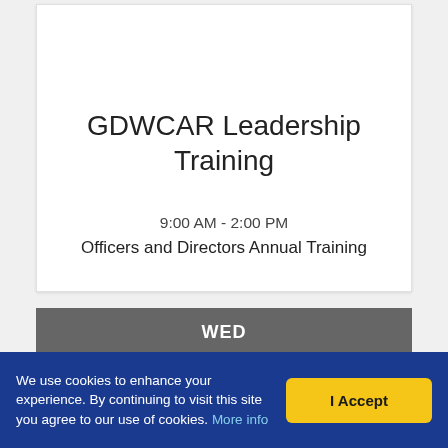GDWCAR Leadership Training
9:00 AM - 2:00 PM
Officers and Directors Annual Training
WED
We use cookies to enhance your experience. By continuing to visit this site you agree to our use of cookies. More info